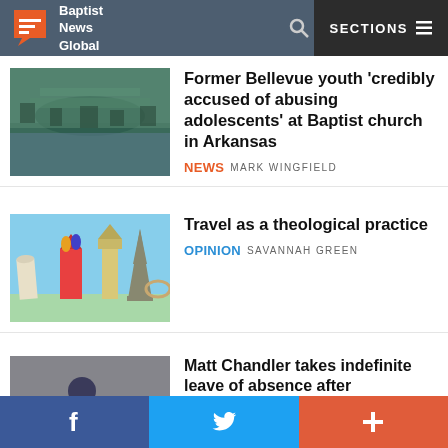Baptist News Global — SECTIONS
Former Bellevue youth 'credibly accused of abusing adolescents' at Baptist church in Arkansas
NEWS MARK WINGFIELD
Travel as a theological practice
OPINION SAVANNAH GREEN
Matt Chandler takes indefinite leave of absence after exchanging 'unwise' online messages with a woman
NEWS MARK WINGFIELD